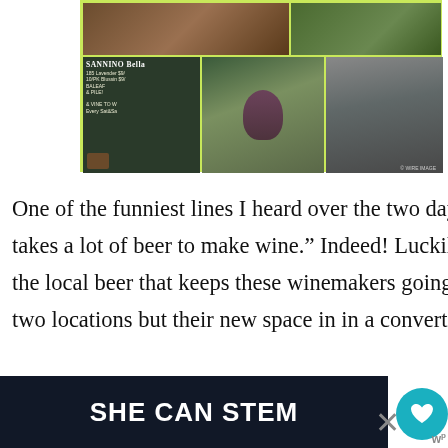[Figure (photo): Photo grid with yellow-green border showing: top row - winery barrel/interior shot (left), green foliage/outdoor shot (right); bottom row - chalkboard sign reading SANNINO Bella with menu items (left), hand holding dark grapes (center), man in green hoodie standing near equipment (right). Watermark visible bottom right.]
One of the funniest lines I heard over the two days in Long Island was that “it takes a lot of beer to make wine.” Indeed! Luckily we also got to sample some of the local beer that keeps these winemakers going. Greenport Harbor Brewing has two locations but their new space in in a converted auto shop is one of the coolest
[Figure (screenshot): UI overlay showing heart/like button (teal circle with heart icon), share button, count of 222, and 'WHAT'S NEXT' panel with thumbnail image and text 'Exploring New England's...']
[Figure (photo): Dark advertisement banner reading 'SHE CAN STEM' in white bold text on dark background, with close X button and logo on right side]